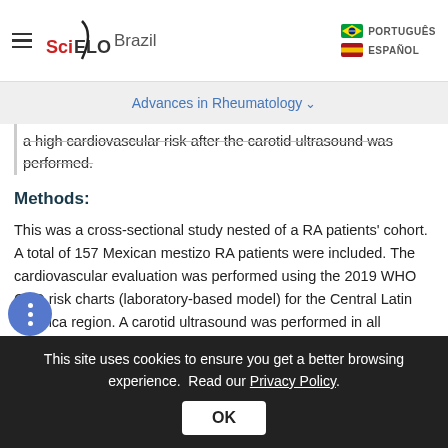SciELO Brazil | Advances in Rheumatology
a high cardiovascular risk after the carotid ultrasound was performed.
Methods:
This was a cross-sectional study nested of a RA patients' cohort. A total of 157 Mexican mestizo RA patients were included. The cardiovascular evaluation was performed using the 2019 WHO CVD risk charts (laboratory-based model) for the Central Latin America region. A carotid ultrasound was performed in all patients. The indication to start statin therapy was considered if the patient
This site uses cookies to ensure you get a better browsing experience. Read our Privacy Policy.